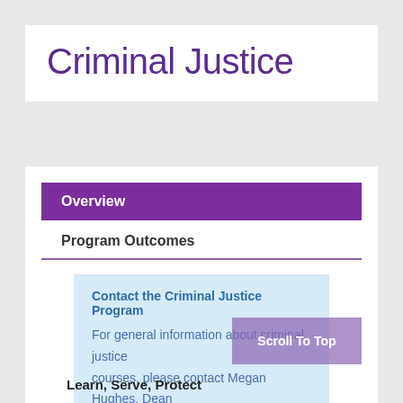Criminal Justice
Overview
Program Outcomes
Contact the Criminal Justice Program
For general information about criminal justice courses, please contact Megan Hughes, Dean of Allied Health and Emergency Services, at mhughes3585@prairiestate.edu
Scroll To Top
Learn, Serve, Protect